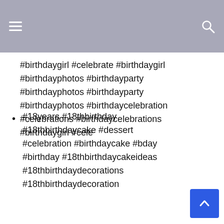#birthdaygirl #celebrate #birthdaygirl #birthdayphotos #birthdayparty #birthdayphotos #birthdayparty #birthdayphotos #birthdaycelebration #celebrations #birthdaycelebrations #birthdaygirl #cele
#18years #18thbirthday #18thbirthdaycake #dessert #celebration #birthdaycake #bday #birthday #18thbirthdaycakeideas #18thbirthdaydecorations #18thbirthdaydecoration